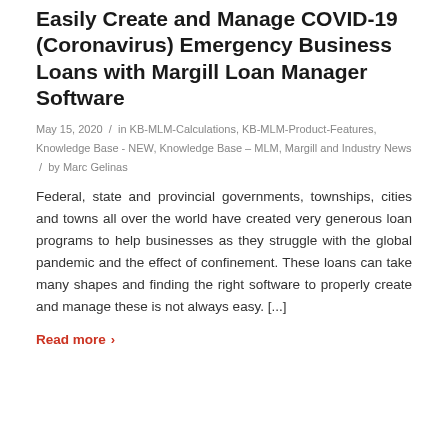Easily Create and Manage COVID-19 (Coronavirus) Emergency Business Loans with Margill Loan Manager Software
May 15, 2020 / in KB-MLM-Calculations, KB-MLM-Product-Features, Knowledge Base - NEW, Knowledge Base – MLM, Margill and Industry News / by Marc Gelinas
Federal, state and provincial governments, townships, cities and towns all over the world have created very generous loan programs to help businesses as they struggle with the global pandemic and the effect of confinement. These loans can take many shapes and finding the right software to properly create and manage these is not always easy. [...]
Read more >